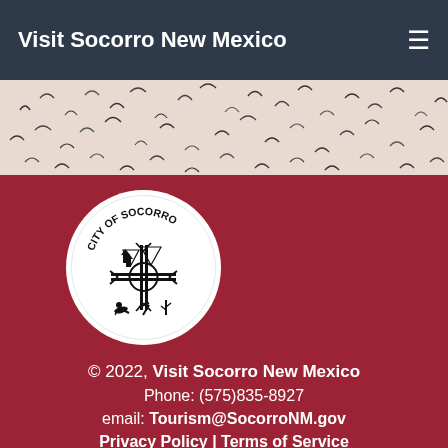Visit Socorro New Mexico
[Figure (photo): Banner photo showing a flock of birds (snow geese) in flight against a light pinkish-white sky]
[Figure (logo): City of Socorro official seal — circular white seal with black text 'CITY OF SOCORRO' along the top and a zia sun symbol in the center surrounded by icons representing mountains, church, roadrunner, and other local symbols]
© 2022, Visit Socorro New Mexico
Phone: (575)835-8927
email: Tourism@SocorroNM.gov
Privacy Policy | Terms of Service